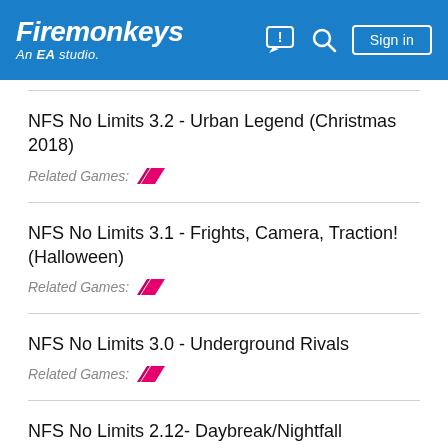Firemonkeys - An EA studio. [Sign in]
NFS No Limits 3.2 - Urban Legend (Christmas 2018)
Related Games:
NFS No Limits 3.1 - Frights, Camera, Traction! (Halloween)
Related Games:
NFS No Limits 3.0 - Underground Rivals
Related Games:
NFS No Limits 2.12- Daybreak/Nightfall
Related Games:
NFS No Limits 2.11 - Underground Downfall (partial)